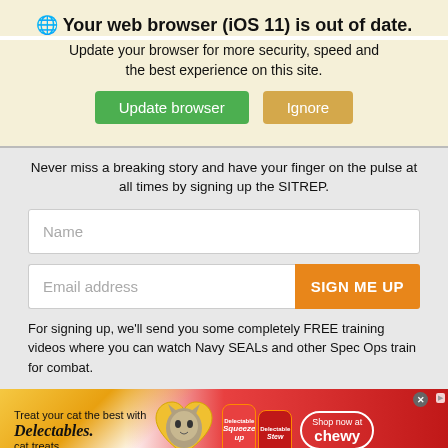Your web browser (iOS 11) is out of date.
Update your browser for more security, speed and the best experience on this site.
Update browser | Ignore
Never miss a breaking story and have your finger on the pulse at all times by signing up the SITREP.
Name
Email address | SIGN ME UP
For signing up, we'll send you some completely FREE training videos where you can watch Navy SEALs and other Spec Ops train for combat.
[Figure (advertisement): Delectables cat treat ad with cat photo, products, and Shop now at Chewy button]